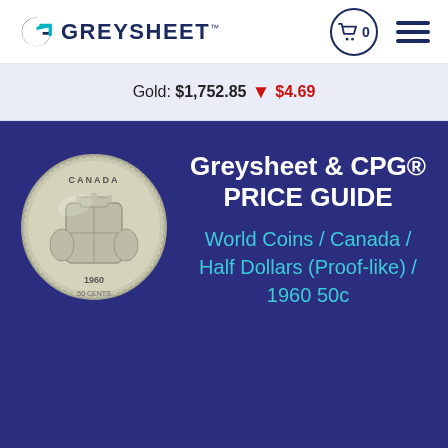GREYSHEET
Gold: $1,752.85 ▼ $4.69
Greysheet & CPG® PRICE GUIDE
World Coins / Canada / Half Dollars (Proof-like) / 1960 50c
[Figure (photo): Canadian 1960 50 cents coin, silver, showing coat of arms reverse]